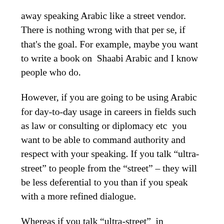away speaking Arabic like a street vendor. There is nothing wrong with that per se, if that's the goal. For example, maybe you want to write a book on  Shaabi Arabic and I know people who do.
However, if you are going to be using Arabic for day-to-day usage in careers in fields such as law or consulting or diplomacy etc  you want to be able to command authority and respect with your speaking. If you talk “ultra-street” to people from the “street” – they will be less deferential to you than if you speak with a more refined dialogue.
Whereas if you talk “ultra-street”  in diplomatic or business functions,  it would be the equivalent  of